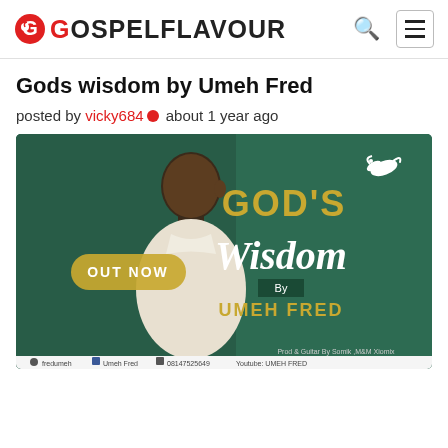GOSPELFLAVOUR
Gods wisdom by Umeh Fred
posted by vicky684 about 1 year ago
[Figure (photo): Album art for God's Wisdom by Umeh Fred. Dark green background with a man in a white shirt facing sideways. Text reads: OUT NOW, GOD'S Wisdom, By UMEH FRED. A white dove in the top right. Bottom text: Prod & Guitar By Somik, M&M Xiomix. Social media handles: fredumeh, Umeh Fred, 08147525649, Youtube: UMEH FRED]